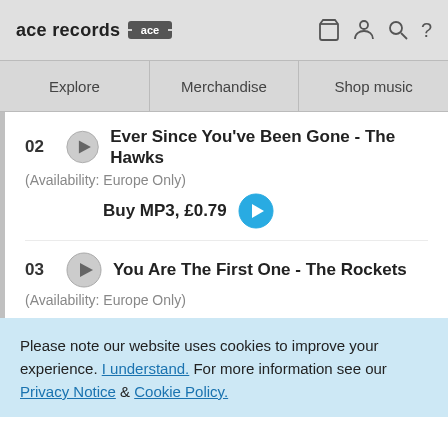ace records
Explore | Merchandise | Shop music
02 Ever Since You've Been Gone - The Hawks (Availability: Europe Only) Buy MP3, £0.79
03 You Are The First One - The Rockets (Availability: Europe Only)
Please note our website uses cookies to improve your experience. I understand. For more information see our Privacy Notice & Cookie Policy.